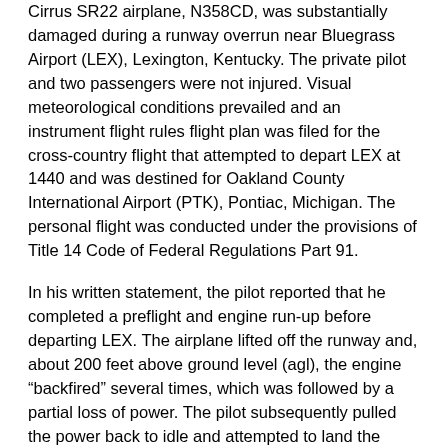Cirrus SR22 airplane, N358CD, was substantially damaged during a runway overrun near Bluegrass Airport (LEX), Lexington, Kentucky. The private pilot and two passengers were not injured. Visual meteorological conditions prevailed and an instrument flight rules flight plan was filed for the cross-country flight that attempted to depart LEX at 1440 and was destined for Oakland County International Airport (PTK), Pontiac, Michigan. The personal flight was conducted under the provisions of Title 14 Code of Federal Regulations Part 91.
In his written statement, the pilot reported that he completed a preflight and engine run-up before departing LEX. The airplane lifted off the runway and, about 200 feet above ground level (agl), the engine "backfired" several times, which was followed by a partial loss of power. The pilot subsequently pulled the power back to idle and attempted to land the airplane on the remaining runway. The airplane overran the end of the runway and collided with the precision approach path indicator lights, which resulted in substantial damage to the wings. The pilot's statement was corroborated by multiple witnesses.